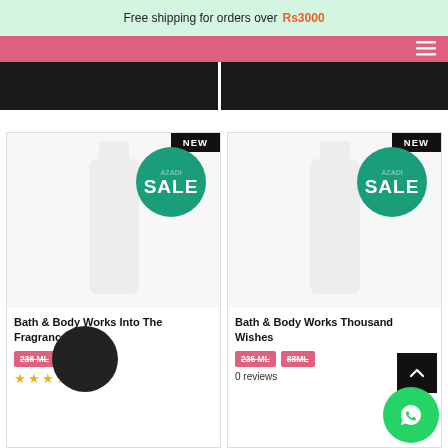Free shipping for orders over Rs3000
[Figure (screenshot): E-commerce website product listing page showing two Bath & Body Works products with NEW badge, SALE circle, size buttons, and star ratings]
Bath & Body Works Into The Fragrance Mist
236 ML   88ML
Bath & Body Works Thousand Wishes
236 ML   88ML
0 reviews